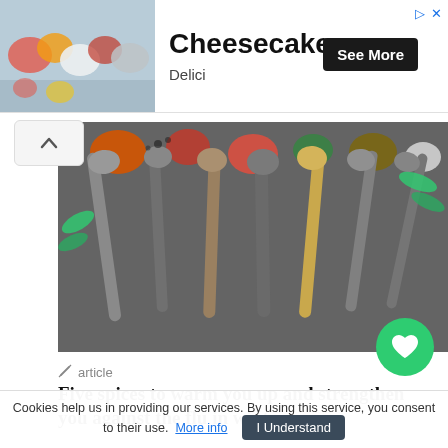[Figure (screenshot): Advertisement banner for Cheesecakes by Delici, showing dessert images on the left, title 'Cheesecakes', subtitle 'Delici', and a 'See More' button on the right.]
[Figure (photo): Overhead photo of various silver spoons holding colorful spices on a dark background, with herbs visible.]
article
Five spices to warm you up and strengthen you against the flu in winter...
...a long period of time and in large quantities. Cardamom You'll find it in most Indian dishes, but its … many other
Cookies help us in providing our services. By using this service, you consent to their use. More info  I Understand